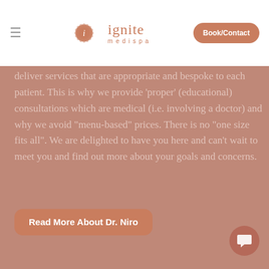ignite medispa — navigation bar with Book/Contact button
deliver services that are appropriate and bespoke to each patient. This is why we provide 'proper' (educational) consultations which are medical (i.e. involving a doctor) and why we avoid "menu-based" prices. There is no "one size fits all". We are delighted to have you here and can't wait to meet you and find out more about your goals and concerns.
Read More About Dr. Niro